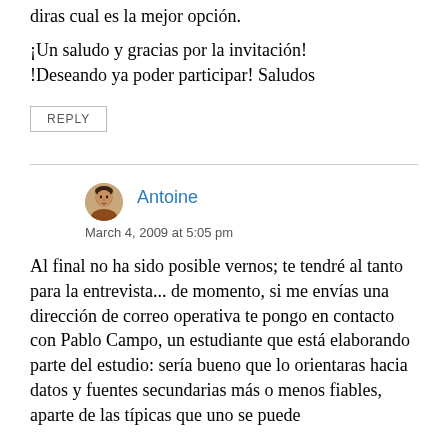diras cual es la mejor opción.
¡Un saludo y gracias por la invitación! !Deseando ya poder participar! Saludos
REPLY
Antoine
March 4, 2009 at 5:05 pm
Al final no ha sido posible vernos; te tendré al tanto para la entrevista... de momento, si me envías una dirección de correo operativa te pongo en contacto con Pablo Campo, un estudiante que está elaborando parte del estudio: sería bueno que lo orientaras hacia datos y fuentes secundarias más o menos fiables, aparte de las típicas que uno se puede